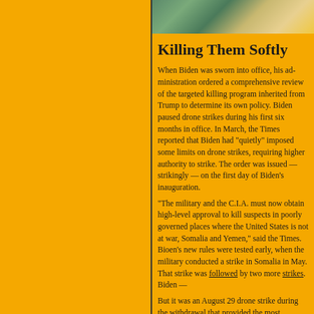[Figure (photo): Partial photo visible at top right, showing outdoor scene with greens and yellows]
Killing Them Softly
When Biden was sworn into office, his administration ordered a comprehensive review of the targeted killing program inherited from Trump to determine its own policy. Biden paused drone strikes during his first six months in office. In March, the Times reported that Biden had “quietly” imposed some limits on drone strikes, requiring higher authority to strike. The order was issued — strikingly — on the first day of Biden’s inauguration.
“The military and the C.I.A. must now obtain high-level approval to kill suspects in poorly governed places where the United States is not at war, Somalia and Yemen,” said the Times. Biden’s new rules were tested early, when the military conducted a strike in Somalia in May. That strike was followed by two more strikes. Biden —
But it was an August 29 drone strike during the withdrawal that provided the most harrowing flashback to the Obama years. The CIA believed a car driven by Islamic State members transported explosives heading to the Kabul airport. Two days after the strike, Biden declared defiantly that the US would continue to hammer the ISIS-K.
“We have what’s called over-the-horizon capability, which means we can hit and targets without American boots on the ground.” With Churchillian bravado, Biden boasted: “We’ve shown that capability just in the last week, remotely, days after they murdered 13 of our soldiers and wounded 18 Afghans. And to ISIS-K: We are not done with you yet.”
But the victims were not ISIS members. T